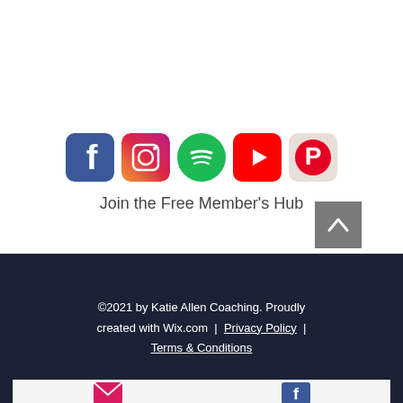[Figure (infographic): Row of five social media icons: Facebook (blue square with white F), Instagram (gradient square with camera icon), Spotify (green circle with sound waves), YouTube (red rectangle with play button), Pinterest (beige/pink square with P logo)]
Join the Free Member's Hub
[Figure (other): Dark grey back-to-top button with upward caret arrow]
©2021 by Katie Allen Coaching. Proudly created with Wix.com  |  Privacy Policy  |  Terms & Conditions
[Figure (infographic): Bottom strip partially visible with email icon and Facebook icon]